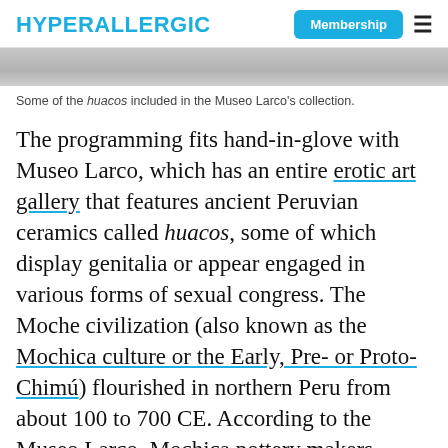HYPERALLERGIC | Membership
[Figure (photo): Partial view of a gray-toned image strip (bottom portion of a photo of huacos)]
Some of the huacos included in the Museo Larco's collection.
The programming fits hand-in-glove with Museo Larco, which has an entire erotic art gallery that features ancient Peruvian ceramics called huacos, some of which display genitalia or appear engaged in various forms of sexual congress. The Moche civilization (also known as the Mochica culture or the Early, Pre- or Proto-Chimú) flourished in northern Peru from about 100 to 700 CE. According to the Museo Larco, Mochica pottery makers achieved a high degree of artistic...